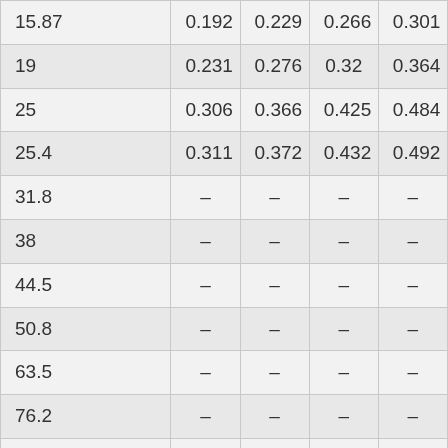| 15.87 | 0.192 | 0.229 | 0.266 | 0.301 |
| 19 | 0.231 | 0.276 | 0.32 | 0.364 |
| 25 | 0.306 | 0.366 | 0.425 | 0.484 |
| 25.4 | 0.311 | 0.372 | 0.432 | 0.492 |
| 31.8 | – | – | – | – |
| 38 | – | – | – | – |
| 44.5 | – | – | – | – |
| 50.8 | – | – | – | – |
| 63.5 | – | – | – | – |
| 76.2 | – | – | – | – |
| 101.6 | – | – | – | – |